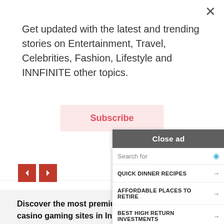Get updated with the latest and trending stories on Entertainment, Travel, Celebrities, Fashion, Lifestyle and INNFINITE other topics.
Subscribe
Discover the most premium blackjack online casino gaming sites in India with real rupees. Get to feel like a professional player and stand, split or have cards dealt at the perfect live bl...
[Figure (screenshot): Ad overlay with 'Close ad' button and search results: QUICK DINNER RECIPES, AFFORDABLE PLACES TO RETIRE, BEST HIGH RETURN INVESTMENTS, FREE PROJECT PLAN TEMPLATE, STOCKS TO INVEST IN, Business Focus footer]
Visit 10Cric and play Andar... directly on your phone! We...